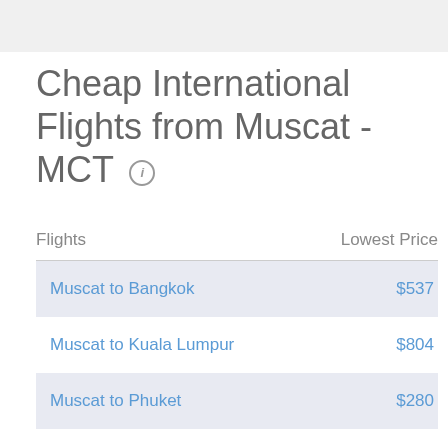Cheap International Flights from Muscat - MCT
| Flights | Lowest Price |
| --- | --- |
| Muscat to Bangkok | $537 |
| Muscat to Kuala Lumpur | $804 |
| Muscat to Phuket | $280 |